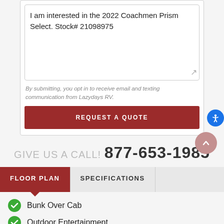I am interested in the 2022 Coachmen Prism Select. Stock# 21098975
By submitting, you opt in to receive email and texting communication from Lazydays RV.
REQUEST A QUOTE
GIVE US A CALL! 877-653-1985
FLOOR PLAN
SPECIFICATIONS
Bunk Over Cab
Outdoor Entertainment